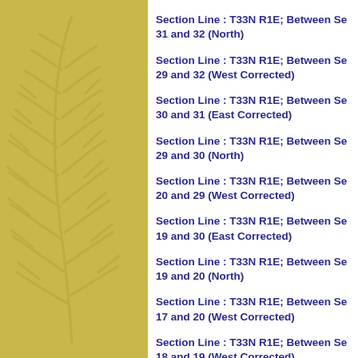Section Line : T33N R1E; Between Sections 31 and 32 (North)
Section Line : T33N R1E; Between Sections 29 and 32 (West Corrected)
Section Line : T33N R1E; Between Sections 30 and 31 (East Corrected)
Section Line : T33N R1E; Between Sections 29 and 30 (North)
Section Line : T33N R1E; Between Sections 20 and 29 (West Corrected)
Section Line : T33N R1E; Between Sections 19 and 30 (East Corrected)
Section Line : T33N R1E; Between Sections 19 and 20 (North)
Section Line : T33N R1E; Between Sections 17 and 20 (West Corrected)
Section Line : T33N R1E; Between Sections 18 and 19 (West Corrected)
Section Line : T33N R1E; Between Sections 17 and 18 (North)
Section Line : T33N R1E; Between Se...